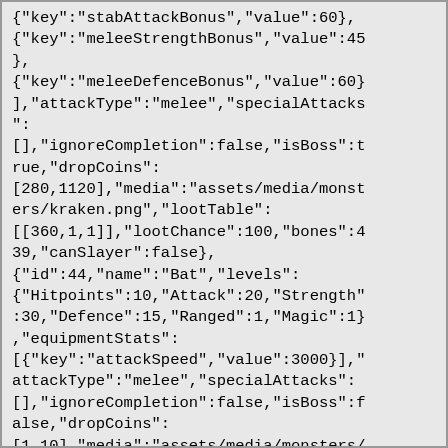{"key":"stabAttackBonus","value":60},{"key":"meleeStrengthBonus","value":45},{"key":"meleeDefenceBonus","value":60}],"attackType":"melee","specialAttacks":[],"ignoreCompletion":false,"isBoss":true,"dropCoins":[280,1120],"media":"assets/media/monsters/kraken.png","lootTable":[[360,1,1]],"lootChance":100,"bones":439,"canSlayer":false},{"id":44,"name":"Bat","levels":{"Hitpoints":10,"Attack":20,"Strength":30,"Defence":15,"Ranged":1,"Magic":1},"equipmentStats":[{"key":"attackSpeed","value":3000}],"attackType":"melee","specialAttacks":[],"ignoreCompletion":false,"isBoss":false,"dropCoins":[1,10],"media":"assets/media/monsters/